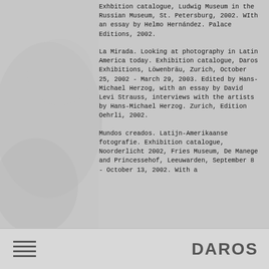Exhbition catalogue, Ludwig Museum in the Russian Museum, St. Petersburg, 2002. WIth an essay by Helmo Hernández. Palace Editions, 2002.
La Mirada. Looking at photography in Latin America today. Exhibition catalogue, Daros Exhibitions, Löwenbräu, Zurich, October 25, 2002 - March 29, 2003. Edited by Hans-Michael Herzog, with an essay by David Levi Strauss, interviews with the artists by Hans-Michael Herzog. Zurich, Edition Oehrli, 2002.
Mundos creados. Latijn-Amerikaanse fotografie. Exhibition catalogue, Noorderlicht 2002, Fries Museum, De Manege and Princessehof, Leeuwarden, September 8 - October 13, 2002. With a
DAROS